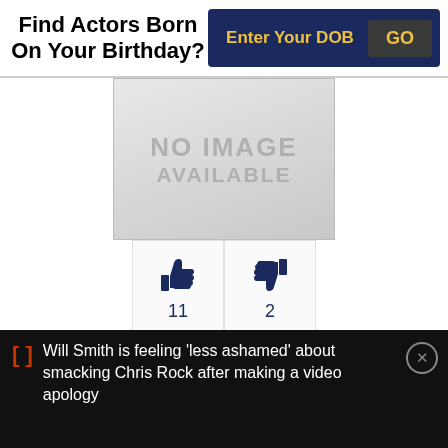Find Actors Born On Your Birthday?
Enter Your DOB
GO
[Figure (other): No image available placeholder with gray gradient background]
11
2
As: Cast, Producer, Director
Role: J.P. Baldwin
Director: John Ford
Will Smith is feeling 'less ashamed' about smacking Chris Rock after making a video apology